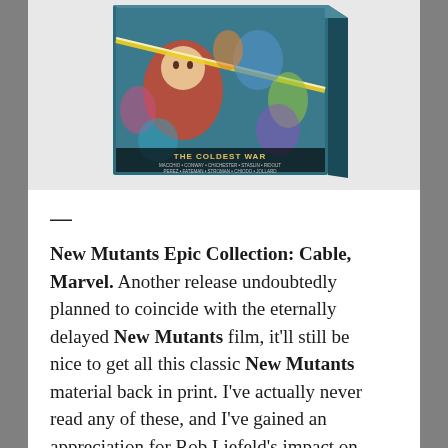[Figure (photo): Book cover of 'New Mutants Epic Collection: The Coldest War' published by Marvel, showing a collage of comic book characters with a beam of energy across the cover. Credits include Macchio, Conway, Chichester, Staslin, Ridout, Perez, Fateman, Stroman, Chiodo, Jollard.]
—
New Mutants Epic Collection: Cable, Marvel. Another release undoubtedly planned to coincide with the eternally delayed New Mutants film, it'll still be nice to get all this classic New Mutants material back in print. I've actually never read any of these, and I've gained an appreciation for Rob Liefeld's impact on comics...